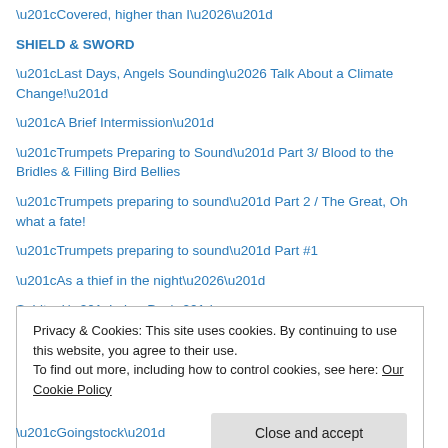“Covered, higher than I…”
SHIELD & SWORD
“Last Days, Angels Sounding… Talk About a Climate Change!”
“A Brief Intermission”
“Trumpets Preparing to Sound” Part 3/ Blood to the Bridles & Filling Bird Bellies
“Trumpets preparing to sound” Part 2 / The Great, Oh what a fate!
“Trumpets preparing to sound” Part #1
“As a thief in the night…”
Spiritual “Labor Day”
“And perhaps if the leaders should repent…”
Shall not perish…
“Get it on the table of your heart”
Privacy & Cookies: This site uses cookies. By continuing to use this website, you agree to their use. To find out more, including how to control cookies, see here: Our Cookie Policy
“Goingstock”